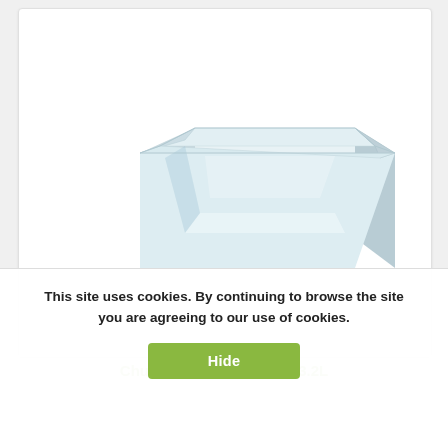[Figure (photo): White rectangular melamine crock/dish photographed from a three-quarter angle above, showing the deep sides and interior of the container. The dish is white with a slight pale-blue tint, sitting on a white background inside a card frame.]
Chunky Crock Melamine 3.2L
This site uses cookies. By continuing to browse the site you are agreeing to our use of cookies.
Hide